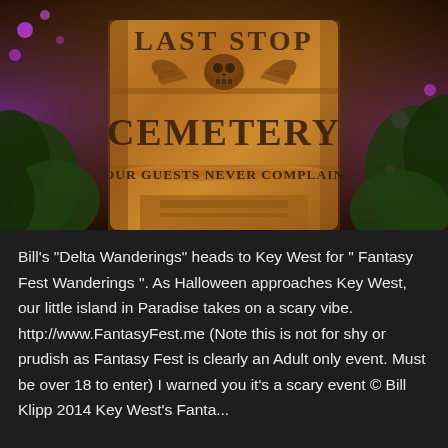[Figure (photo): A cemetery sign carved in stone/wood with ornate skull and wings motif at top. The sign reads 'LAST STOP CEMETERY' with a banner below reading 'OUR GUESTS NEVER COMPLAIN'. Purple lights and tropical foliage visible in background. Warm amber/orange lighting on the sign.]
Bill's "Delta Wanderings" heads to Key West for " Fantasy Fest Wanderings ". As Halloween approaches Key West, our little island in Paradise takes on a scary vibe. http://www.FantasyFest.me (Note this is not for shy or prudish as Fantasy Fest is clearly an Adult only event. Must be over 18 to enter) I warned you it's a scary event © Bill Klipp 2014 Key West's Fanta...